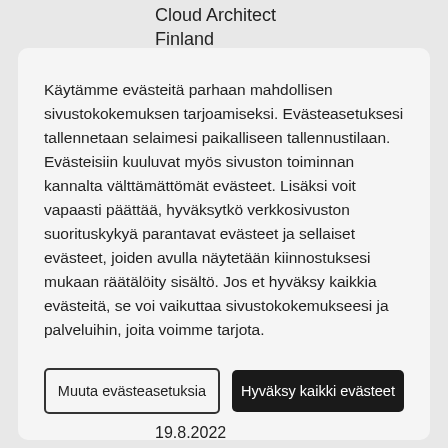Cloud Architect
Finland
Käytämme evästeitä parhaan mahdollisen sivustokokemuksen tarjoamiseksi. Evästeasetuksesi tallennetaan selaimesi paikalliseen tallennustilaan. Evästeisiin kuuluvat myös sivuston toiminnan kannalta välttämättömät evästeet. Lisäksi voit vapaasti päättää, hyväksytkö verkkosivuston suorituskykyä parantavat evästeet ja sellaiset evästeet, joiden avulla näytetään kiinnostuksesi mukaan räätälöity sisältö. Jos et hyväksy kaikkia evästeitä, se voi vaikuttaa sivustokokemukseesi ja palveluihin, joita voimme tarjota.
Muuta evästeasetuksia
Hyväksy kaikki evästeet
19.8.2022